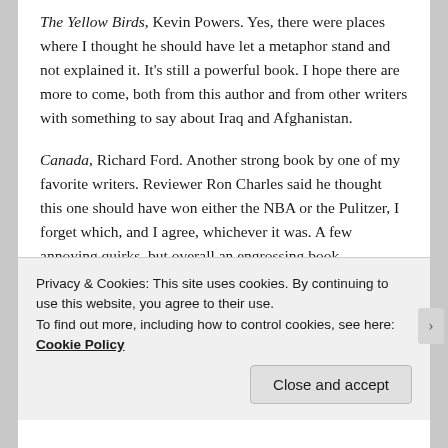The Yellow Birds, Kevin Powers. Yes, there were places where I thought he should have let a metaphor stand and not explained it. It's still a powerful book. I hope there are more to come, both from this author and from other writers with something to say about Iraq and Afghanistan.
Canada, Richard Ford. Another strong book by one of my favorite writers. Reviewer Ron Charles said he thought this one should have won either the NBA or the Pulitzer, I forget which, and I agree, whichever it was. A few annoying quirks, but overall an engrossing book.
Privacy & Cookies: This site uses cookies. By continuing to use this website, you agree to their use.
To find out more, including how to control cookies, see here: Cookie Policy